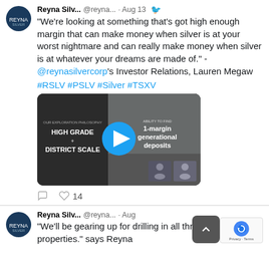Reyna Silv... @reyna... · Aug 13
"We're looking at something that's got high enough margin that can make money when silver is at your worst nightmare and can really make money when silver is at whatever your dreams are made of." - @reynasilvercorp's Investor Relations, Lauren Megaw
#RSLV #PSLV #Silver #TSXV
[Figure (screenshot): Video thumbnail showing a presentation slide with 'HIGH GRADE + DISTRICT SCALE' text on the left panel, a blue play button in the center, and text '1-margin generational deposits' on the right, with small profile images in the bottom right corner.]
14 likes
Reyna Silv... @reyna... · Aug 11
"We'll be gearing up for drilling in all three of our properties." says Reyna